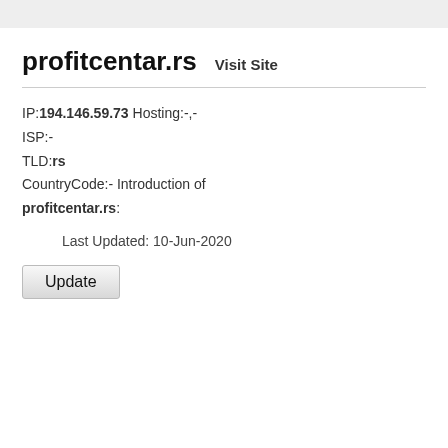profitcentar.rs   Visit Site
IP:194.146.59.73 Hosting:-,-
ISP:-
TLD:rs
CountryCode:- Introduction of
profitcentar.rs:
Last Updated: 10-Jun-2020
Update